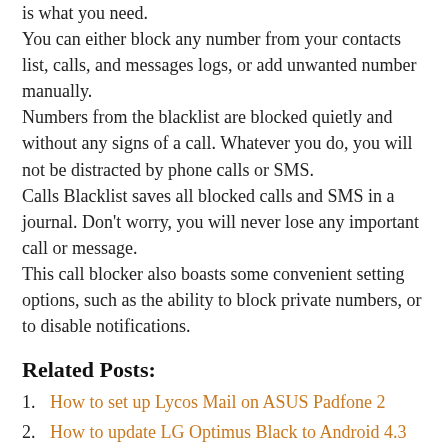is what you need.
You can either block any number from your contacts list, calls, and messages logs, or add unwanted number manually.
Numbers from the blacklist are blocked quietly and without any signs of a call. Whatever you do, you will not be distracted by phone calls or SMS.
Calls Blacklist saves all blocked calls and SMS in a journal. Don't worry, you will never lose any important call or message.
This call blocker also boasts some convenient setting options, such as the ability to block private numbers, or to disable notifications.
Related Posts:
How to set up Lycos Mail on ASUS Padfone 2
How to update LG Optimus Black to Android 4.3
How To Reset Motorola Electrify
How to make ringtones for Coby Kyros MID7042